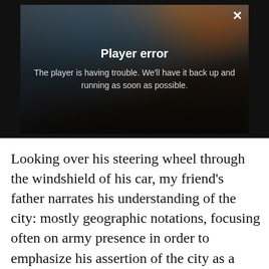[Figure (screenshot): Video player showing a factory/workshop scene with workers, overlaid with a 'Player error' message: 'The player is having trouble. We'll have it back up and running as soon as possible.' A close (X) button is in the top right corner.]
Looking over his steering wheel through the windshield of his car, my friend's father narrates his understanding of the city: mostly geographic notations, focusing often on army presence in order to emphasize his assertion of the city as a place defined by illicit activity. He drives through the “industrial park”, an expanse of factories,